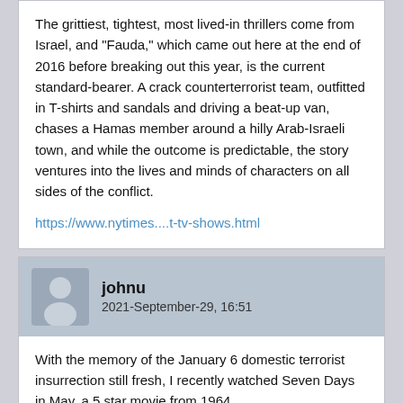The grittiest, tightest, most lived-in thrillers come from Israel, and "Fauda," which came out here at the end of 2016 before breaking out this year, is the current standard-bearer. A crack counterterrorist team, outfitted in T-shirts and sandals and driving a beat-up van, chases a Hamas member around a hilly Arab-Israeli town, and while the outcome is predictable, the story ventures into the lives and minds of characters on all sides of the conflict.
https://www.nytimes....t-tv-shows.html
johnu
2021-September-29, 16:51
With the memory of the January 6 domestic terrorist insurrection still fresh, I recently watched Seven Days in May, a 5 star movie from 1964.
Wikipedia - Seven Days in May
This movie features an all star cast, famous director and writer. The plot is that the US President is planning to sign a treaty with the USSR to reduce nuclear weapons that is opposed by the Joint